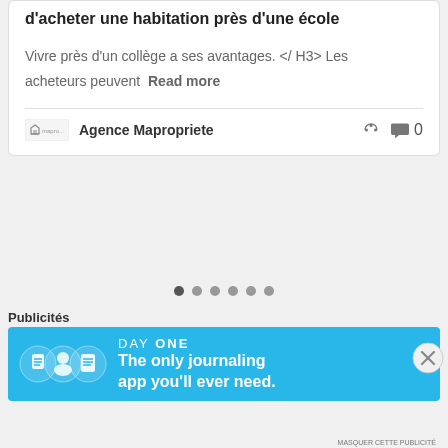d'acheter une habitation près d'une école
Vivre près d'un collège a ses avantages. </ H3> Les acheteurs peuvent  Read more
Agence Mapropriete  0
[Figure (other): Pagination dots row with 6 dots, first dot filled darker]
Publicités
[Figure (other): DAY ONE app advertisement banner: blue background with illustrated icons, text 'The only journaling app you'll ever need.']